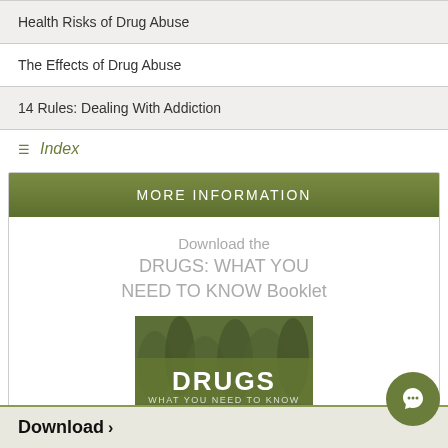Health Risks of Drug Abuse
The Effects of Drug Abuse
14 Rules: Dealing With Addiction
Index
MORE INFORMATION
Download the DRUGS: WHAT YOU NEED TO KNOW Booklet
[Figure (illustration): Book cover for 'DRUGS: WHAT YOU NEED TO KNOW' booklet showing a forest background with bold white text on an olive green banner]
Download >